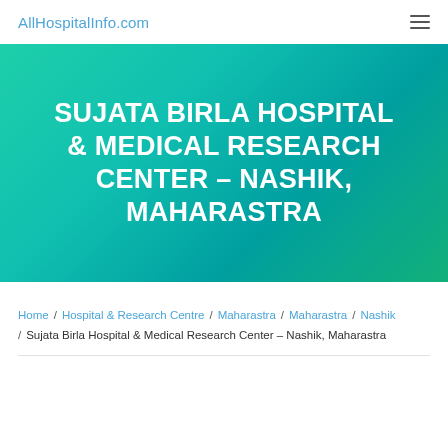AllHospitalInfo.com
SUJATA BIRLA HOSPITAL & MEDICAL RESEARCH CENTER – NASHIK, MAHARASTRA
Home / Hospital & Research Centre / Maharastra / Maharastra / Nashik / Sujata Birla Hospital & Medical Research Center – Nashik, Maharastra